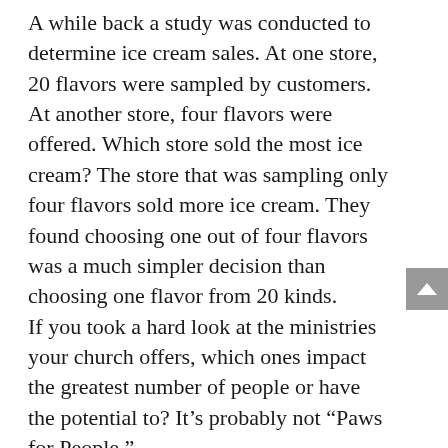A while back a study was conducted to determine ice cream sales. At one store, 20 flavors were sampled by customers. At another store, four flavors were offered. Which store sold the most ice cream? The store that was sampling only four flavors sold more ice cream. They found choosing one out of four flavors was a much simpler decision than choosing one flavor from 20 kinds. If you took a hard look at the ministries your church offers, which ones impact the greatest number of people or have the potential to? It’s probably not “Paws for People.” In the last church I served, we had a ministry called “Paws for People.” People brought their dogs to nursing homes to cheer up the residents. I am a dog lover. When I’m in a